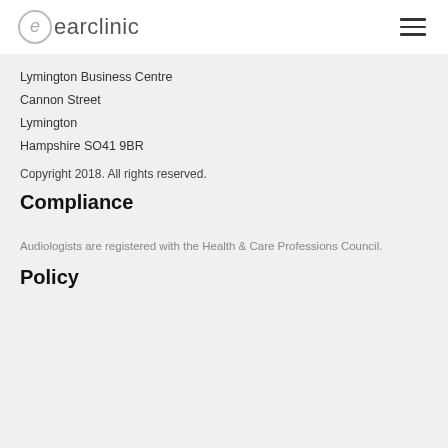earclinic
Lymington Business Centre
Cannon Street
Lymington
Hampshire SO41 9BR
Copyright 2018. All rights reserved.
Compliance
Audiologists are registered with the Health & Care Professions Council.
Policy